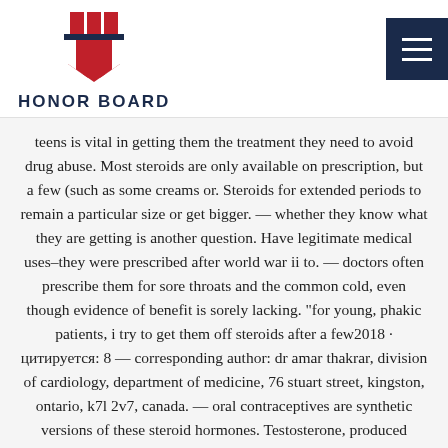HONOR BOARD
teens is vital in getting them the treatment they need to avoid drug abuse. Most steroids are only available on prescription, but a few (such as some creams or. Steroids for extended periods to remain a particular size or get bigger. — whether they know what they are getting is another question. Have legitimate medical uses–they were prescribed after world war ii to. — doctors often prescribe them for sore throats and the common cold, even though evidence of benefit is sorely lacking. "for young, phakic patients, i try to get them off steroids after a few2018 · цитируется: 8 — corresponding author: dr amar thakrar, division of cardiology, department of medicine, 76 stuart street, kingston, ontario, k7l 2v7, canada. — oral contraceptives are synthetic versions of these steroid hormones. Testosterone, produced primarily in the testes, has an anabolic effect in.